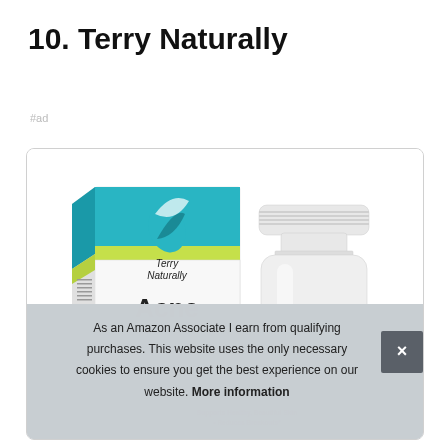10. Terry Naturally
#ad
[Figure (photo): Product image of Terry Naturally Acne supplement box and bottle, white packaging with teal/green header and leaf logo. Box shows brand name in script font and 'Acne' in large text.]
As an Amazon Associate I earn from qualifying purchases. This website uses the only necessary cookies to ensure you get the best experience on our website. More information